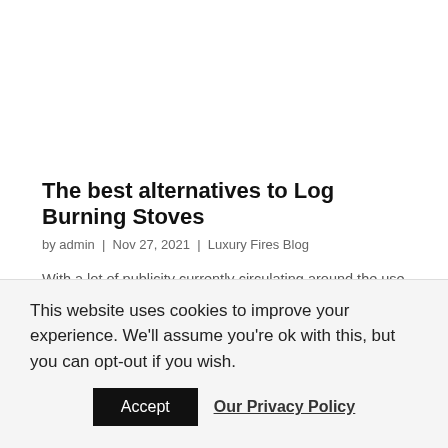The best alternatives to Log Burning Stoves
by admin | Nov 27, 2021 | Luxury Fires Blog
With a lot of publicity currently circulating around the use of log burners and the impact they can have on your homes, many people across the UK are scared of introducing a luxury log burning fireplace
This website uses cookies to improve your experience. We'll assume you're ok with this, but you can opt-out if you wish.
Accept  Our Privacy Policy